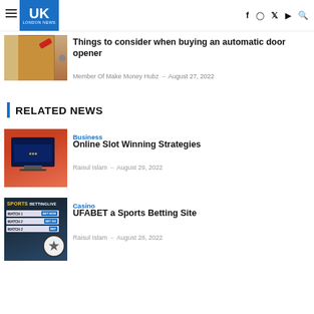UK London News
Things to consider when buying an automatic door opener
Member Of Make Money Hubz – August 27, 2022
RELATED NEWS
Business
Online Slot Winning Strategies
Raisul Islam – August 29, 2022
Casino
UFABET a Sports Betting Site
Raisul Islam – August 28, 2022